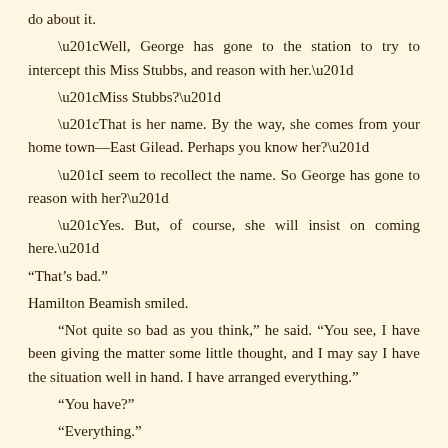do about it.
“Well, George has gone to the station to try to intercept this Miss Stubbs, and reason with her.”
“Miss Stubbs?”
“That is her name. By the way, she comes from your home town—East Gilead. Perhaps you know her?”
“I seem to recollect the name. So George has gone to reason with her?”
“Yes. But, of course, she will insist on coming here.”
“That’s bad.”
Hamilton Beamish smiled.
“Not quite so bad as you think,” he said. “You see, I have been giving the matter some little thought, and I may say I have the situation well in hand. I have arranged everything.”
“You have?”
“Everything.”